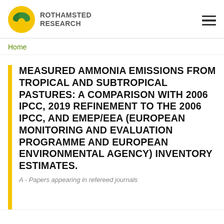ROTHAMSTED RESEARCH
Home
MEASURED AMMONIA EMISSIONS FROM TROPICAL AND SUBTROPICAL PASTURES: A COMPARISON WITH 2006 IPCC, 2019 REFINEMENT TO THE 2006 IPCC, AND EMEP/EEA (EUROPEAN MONITORING AND EVALUATION PROGRAMME AND EUROPEAN ENVIRONMENTAL AGENCY) INVENTORY ESTIMATES.
A - Papers appearing in refereed journals